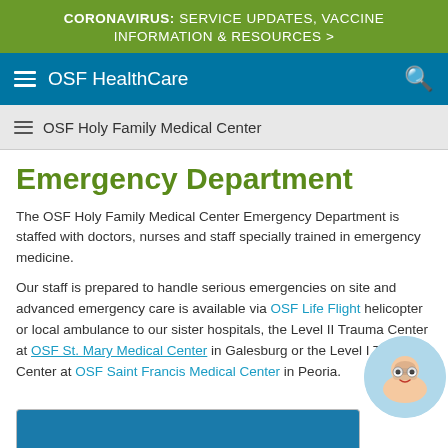CORONAVIRUS: SERVICE UPDATES, VACCINE INFORMATION & RESOURCES >
OSF HealthCare
OSF Holy Family Medical Center
Emergency Department
The OSF Holy Family Medical Center Emergency Department is staffed with doctors, nurses and staff specially trained in emergency medicine.
Our staff is prepared to handle serious emergencies on site and advanced emergency care is available via OSF Life Flight helicopter or local ambulance to our sister hospitals, the Level II Trauma Center at OSF St. Mary Medical Center in Galesburg or the Level I Trauma Center at OSF Saint Francis Medical Center in Peoria.
[Figure (photo): Partial image preview at bottom of page, blue background]